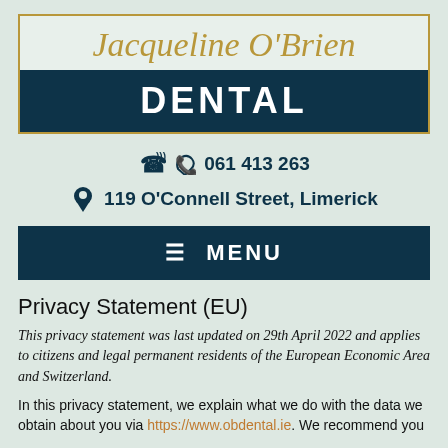Jacqueline O'Brien DENTAL
061 413 263
119 O'Connell Street, Limerick
≡ MENU
Privacy Statement (EU)
This privacy statement was last updated on 29th April 2022 and applies to citizens and legal permanent residents of the European Economic Area and Switzerland.
In this privacy statement, we explain what we do with the data we obtain about you via https://www.obdental.ie. We recommend you